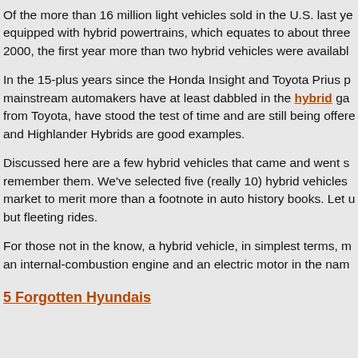Of the more than 16 million light vehicles sold in the U.S. last year, about 495,000 were equipped with hybrid powertrains, which equates to about three percent of the market. Back in 2000, the first year more than two hybrid vehicles were available...
In the 15-plus years since the Honda Insight and Toyota Prius pioneered the segment, most mainstream automakers have at least dabbled in the hybrid game. Many, particularly from Toyota, have stood the test of time and are still being offered today. The Prius and Highlander Hybrids are good examples.
Discussed here are a few hybrid vehicles that came and went so quickly, few people remember them. We've selected five (really 10) hybrid vehicles that were briefly on the market to merit more than a footnote in auto history books. Let us look at these noble but fleeting rides.
For those not in the know, a hybrid vehicle, in simplest terms, marries the power of an internal-combustion engine and an electric motor in the name...
5 Forgotten Hyundais